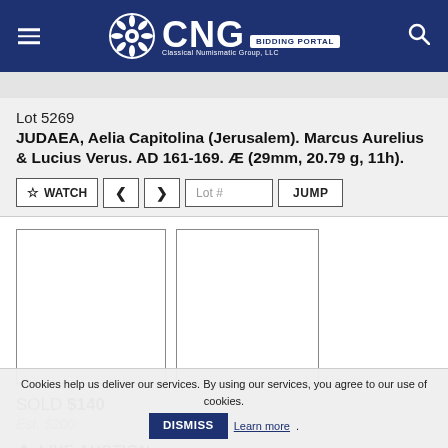CNG BIDDING PORTAL
Lot 5269
JUDAEA, Aelia Capitolina (Jerusalem). Marcus Aurelius & Lucius Verus. AD 161-169. Æ (29mm, 20.79 g, 11h).
[Figure (photo): Two blank coin image placeholders side by side]
SOLD $140
Est. $200
LIVE AUCTION
Cookies help us deliver our services. By using our services, you agree to our use of cookies.